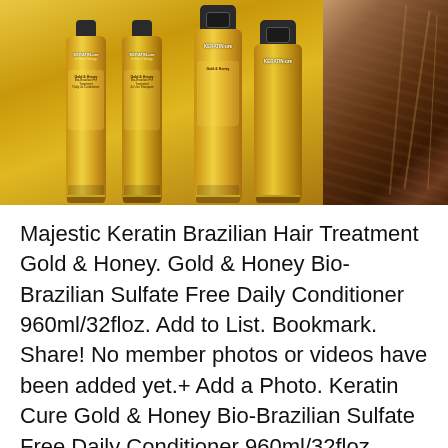[Figure (photo): Four gold bottles of Keratin Cure Gold & Honey hair treatment products arranged side by side, with a panel showing smooth brown hair on the right side. The bottles are gold colored with black caps and decorative elements.]
Majestic Keratin Brazilian Hair Treatment Gold & Honey. Gold & Honey Bio-Brazilian Sulfate Free Daily Conditioner 960ml/32floz. Add to List. Bookmark. Share! No member photos or videos have been added yet.+ Add a Photo. Keratin Cure Gold & Honey Bio-Brazilian Sulfate Free Daily Conditioner 960ml/32floz, Keratin is also a natural substance that provides the hair the ability to come back on it original shiny, healthy,